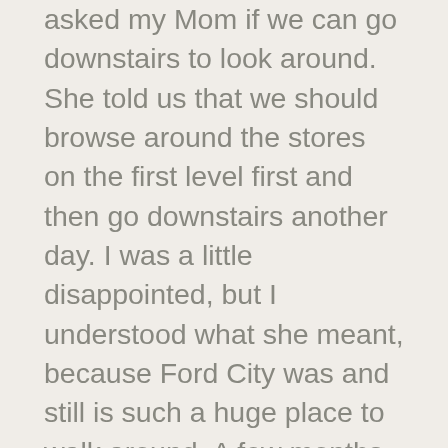asked my Mom if we can go downstairs to look around. She told us that we should browse around the stores on the first level first and then go downstairs another day. I was a little disappointed, but I understood what she meant, because Ford City was and still is such a huge place to walk around. A few months later, I met up with a friend of mine from the neighborhood and asked him if we can go to Peacock Alley. He said yes. We took the shuttle bus, arrived at the mall and then proceeded to the escalator outside of Woolworth's. We walked through it and I was totally amazed by it. I have never saw anything like this in my life. We passed by the all the stores and at the end we took escalator up. It was either at Turn-Style or Jewel. Anyone can correct me on that, where that's in relation to stores that I have...